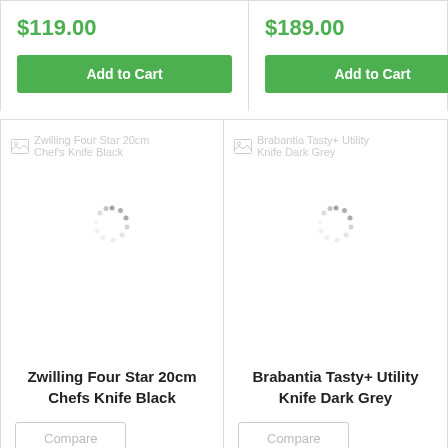$119.00
Add to Cart
$189.00
Add to Cart
[Figure (screenshot): Loading spinner for Zwilling Four Star 20cm Chef's Knife Black product image]
Zwilling Four Star 20cm Chefs Knife Black
Compare
[Figure (screenshot): Loading spinner for Brabantia Tasty+ Utility Knife Dark Grey product image]
Brabantia Tasty+ Utility Knife Dark Grey
Compare